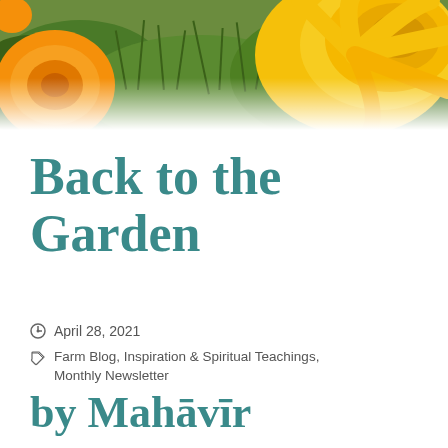[Figure (photo): Banner photo of orange and yellow flowers (marigolds/gazanias) with green foliage in the background, filling the top of the page.]
Back to the Garden
April 28, 2021
Farm Blog, Inspiration & Spiritual Teachings, Monthly Newsletter
by Mahāvīr